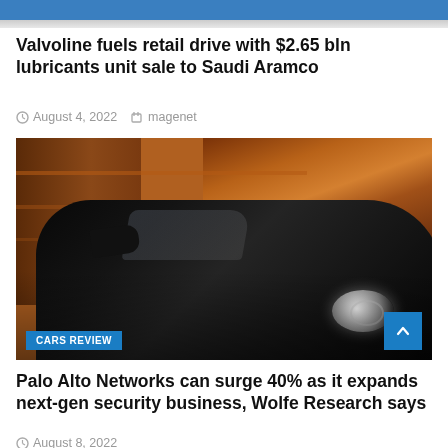[Figure (photo): Top portion of an article image (partially visible at top of page), showing blue and gray tones]
Valvoline fuels retail drive with $2.65 bln lubricants unit sale to Saudi Aramco
August 4, 2022   magenet
[Figure (photo): A dark SUV/car photographed from the front-side angle, parked in front of an industrial scaffold structure with warm orange/amber lighting. A 'CARS REVIEW' badge appears in the bottom-left corner and a blue scroll-to-top button appears in the bottom-right corner.]
Palo Alto Networks can surge 40% as it expands next-gen security business, Wolfe Research says
August 8, 2022